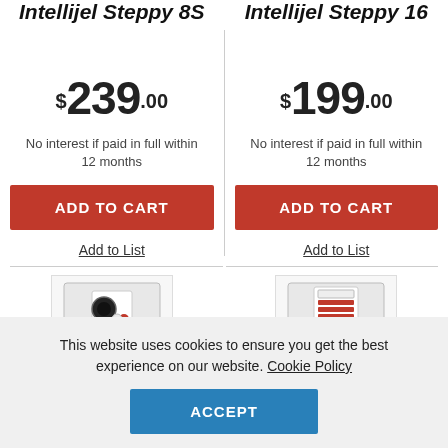Intellijel Steppy 8S
Intellijel Steppy 16
$239.00
$199.00
No interest if paid in full within 12 months
No interest if paid in full within 12 months
ADD TO CART
ADD TO CART
Add to List
Add to List
[Figure (photo): Product image of Intellijel Steppy module (left)]
[Figure (photo): Product image of Intellijel Steppy module (right)]
This website uses cookies to ensure you get the best experience on our website. Cookie Policy
ACCEPT